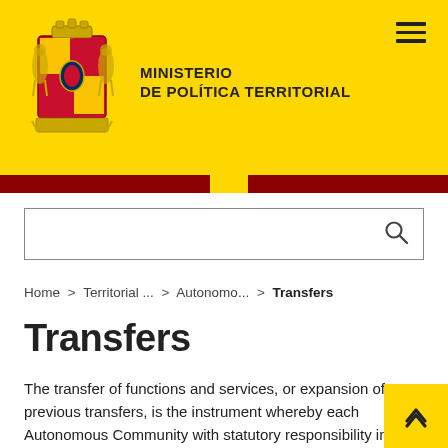[Figure (logo): Ministerio de Política Territorial coat of arms logo with text]
Home > Territorial ... > Autonomo... > Transfers
Transfers
The transfer of functions and services, or expansion of previous transfers, is the instrument whereby each Autonomous Community with statutory responsibility in a particular area assumes functions that make up this competition and material means, personal and economic state administration or their autonomous bodies were earmarking for the development of those functions